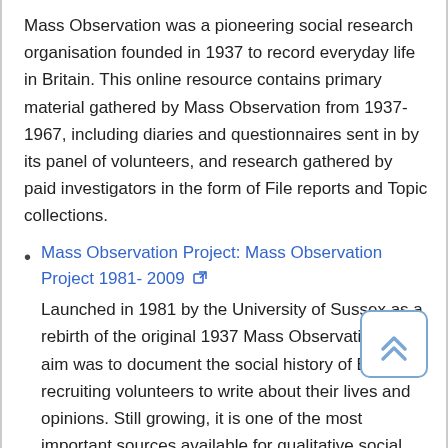Mass Observation was a pioneering social research organisation founded in 1937 to record everyday life in Britain. This online resource contains primary material gathered by Mass Observation from 1937-1967, including diaries and questionnaires sent in by its panel of volunteers, and research gathered by paid investigators in the form of File reports and Topic collections.
Mass Observation Project: Mass Observation Project 1981- 2009 [external link]
Launched in 1981 by the University of Sussex as a rebirth of the original 1937 Mass Observation, its aim was to document the social history of Britain by recruiting volunteers to write about their lives and opinions. Still growing, it is one of the most important sources available for qualitative social data in the UK. This collection consists of the directives (questionnaires) sent out by Mass Observation in the 1980s and 1990s and the